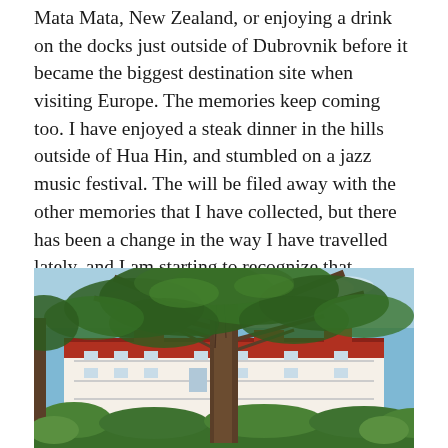Mata Mata, New Zealand, or enjoying a drink on the docks just outside of Dubrovnik before it became the biggest destination site when visiting Europe. The memories keep coming too. I have enjoyed a steak dinner in the hills outside of Hua Hin, and stumbled on a jazz music festival. The will be filed away with the other memories that I have collected, but there has been a change in the way I have travelled lately, and I am starting to recognize that change.
[Figure (photo): Outdoor photo of a large white colonial-style hotel or resort building with a red roof, viewed through a large tree in the foreground. Green shrubs and gardens in front of the building, blue sky with light clouds above.]